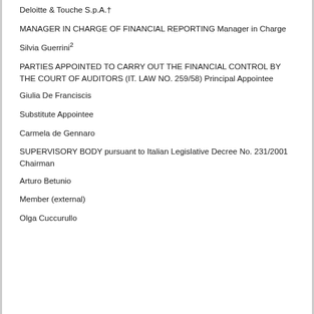Deloitte & Touche S.p.A.†
MANAGER IN CHARGE OF FINANCIAL REPORTING Manager in Charge
Silvia Guerrini2
PARTIES APPOINTED TO CARRY OUT THE FINANCIAL CONTROL BY THE COURT OF AUDITORS (IT. LAW NO. 259/58) Principal Appointee
Giulia De Franciscis
Substitute Appointee
Carmela de Gennaro
SUPERVISORY BODY pursuant to Italian Legislative Decree No. 231/2001 Chairman
Arturo Betunio
Member (external)
Olga Cuccurullo